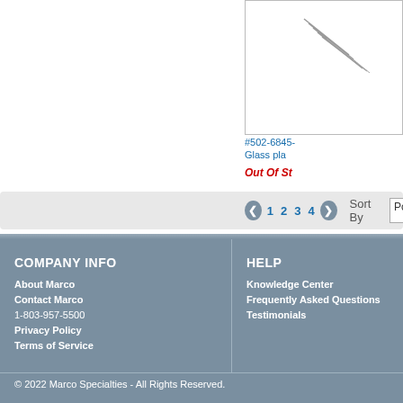[Figure (photo): Product image showing glass plate with diagonal line markings]
#502-6845-
Glass pla
Out Of St
1 2 3 4   Sort By  Popula
COMPANY INFO
About Marco
Contact Marco
1-803-957-5500
Privacy Policy
Terms of Service
HELP
Knowledge Center
Frequently Asked Questions
Testimonials
© 2022 Marco Specialties - All Rights Reserved.